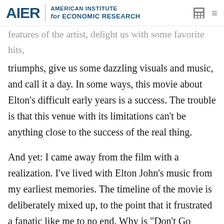AIER | AMERICAN INSTITUTE for ECONOMIC RESEARCH
features of the artist, delight us with some favorite hits, triumph, give us some dazzling visuals and music, and call it a day. In some ways, this movie about Elton’s difficult early years is a success. The trouble is that this venue with its limitations can’t be anything close to the success of the real thing.
And yet: I came away from the film with a realization. I’ve lived with Elton John’s music from my earliest memories. The timeline of the movie is deliberately mixed up, to the point that it frustrated a fanatic like me to no end. Why is “Don’t Go Breaking My Heart” – a pastiche written as a dare – coming before “Don’t Let the Sun Go Down on Me?” It’s because the filmmakers wanted to tell a digestible story of near ruin followed by redemption,